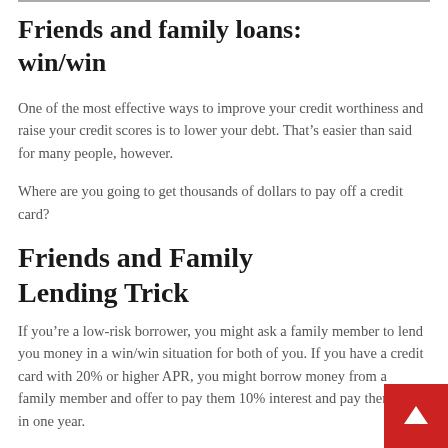Friends and family loans: win/win
One of the most effective ways to improve your credit worthiness and raise your credit scores is to lower your debt. That’s easier than said for many people, however.
Where are you going to get thousands of dollars to pay off a credit card?
Friends and Family Lending Trick
If you’re a low-risk borrower, you might ask a family member to lend you money in a win/win situation for both of you. If you have a credit card with 20% or higher APR, you might borrow money from a family member and offer to pay them 10% interest and pay them back in one year.